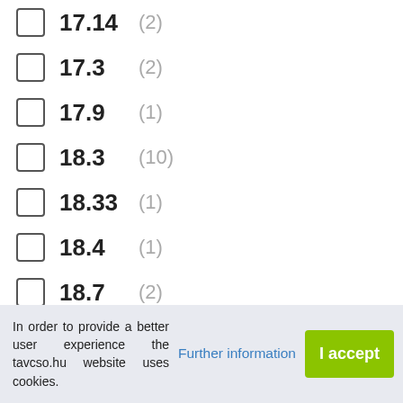17.14 (2)
17.3 (2)
17.9 (1)
18.3 (10)
18.33 (1)
18.4 (1)
18.7 (2)
18.8 (1)
18.9 (1)
19 (1)
20 (3)
20.5 (10)
20.6 (1)
21 (1)
21.2 (12)
22.2 (1)
In order to provide a better user experience the tavcso.hu website uses cookies.
Further information
I accept